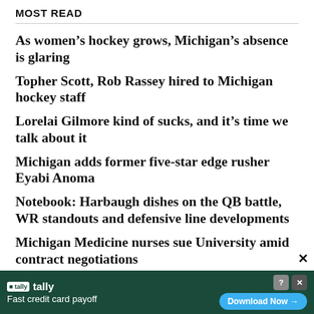MOST READ
As women’s hockey grows, Michigan’s absence is glaring
Topher Scott, Rob Rassey hired to Michigan hockey staff
Lorelai Gilmore kind of sucks, and it’s time we talk about it
Michigan adds former five-star edge rusher Eyabi Anoma
Notebook: Harbaugh dishes on the QB battle, WR standouts and defensive line developments
Michigan Medicine nurses sue University amid contract negotiations
[Figure (other): Advertisement banner: Tally app - Fast credit card payoff. Download Now button on green background.]